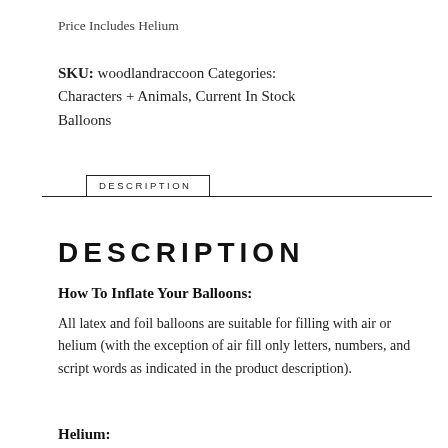Price Includes Helium
SKU: woodlandraccoon Categories: Characters + Animals, Current In Stock Balloons
DESCRIPTION
DESCRIPTION
How To Inflate Your Balloons:
All latex and foil balloons are suitable for filling with air or helium (with the exception of air fill only letters, numbers, and script words as indicated in the product description).
Helium: